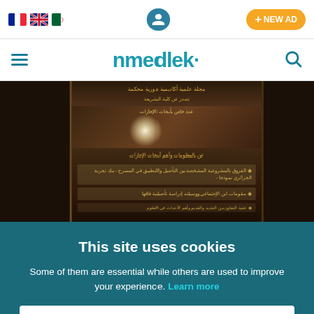nmedlek - language flags, user icon, + NEW AD button, hamburger menu, search icon
[Figure (screenshot): A photograph of an Arabic academic journal cover with Arabic text, decorative borders, and a bright light reflection on a dark brown background.]
This site uses cookies
Some of them are essential while others are used to improve your experience. Learn more
GOT IT